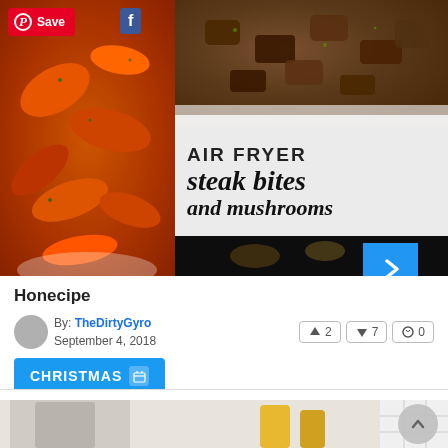[Figure (photo): Food blog screenshot showing two overlapping recipe cards. Top card: collage with roasted carrots (left) and air fryer steak bites and mushrooms (right, with text overlay reading 'AIR FRYER steak bites and mushrooms'). Below the images: article title 'Hone...cipe', author 'TheDirtyGyro', date 'September 4, 2018', voting buttons (2 up, 7 down, 0 comments), and a blue 'CHRISTMAS' category tag. Bottom card shows a partial kitchen-themed image.]
Hone...cipe
By: TheDirtyGyro
September 4, 2018
2
7
0
CHRISTMAS